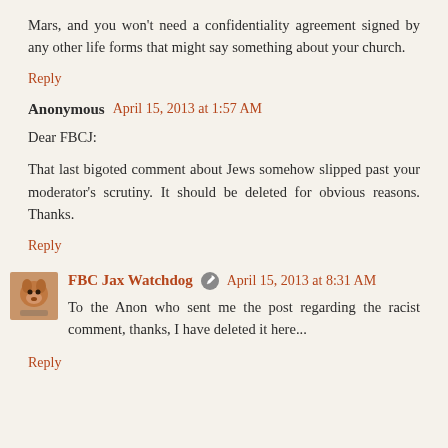Mars, and you won't need a confidentiality agreement signed by any other life forms that might say something about your church.
Reply
Anonymous  April 15, 2013 at 1:57 AM
Dear FBCJ:
That last bigoted comment about Jews somehow slipped past your moderator's scrutiny. It should be deleted for obvious reasons. Thanks.
Reply
FBC Jax Watchdog  April 15, 2013 at 8:31 AM
To the Anon who sent me the post regarding the racist comment, thanks, I have deleted it here...
Reply